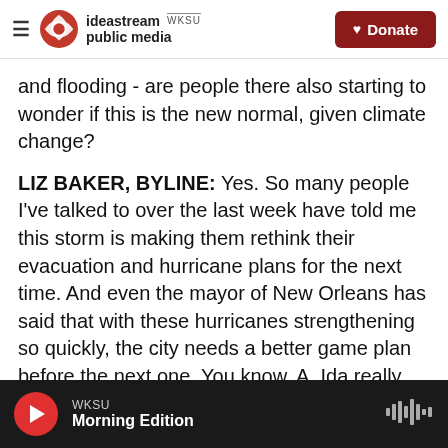ideastream public media | WKSU | Donate
and flooding - are people there also starting to wonder if this is the new normal, given climate change?
LIZ BAKER, BYLINE: Yes. So many people I've talked to over the last week have told me this storm is making them rethink their evacuation and hurricane plans for the next time. And even the mayor of New Orleans has said that with these hurricanes strengthening so quickly, the city needs a better game plan before the next one. You know, A, Ida really threw people. And these are people who have a lifetime of experience with hurricanes.
WKSU | Morning Edition